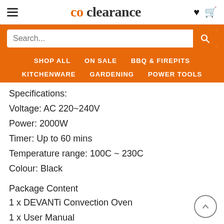co clearance
Search...
SHOP ALL | ON SALE | BBQ & FIREPITS | KITCHENWARE | GARDENING | POWER TOOLS
Specifications:
Voltage: AC 220~240V
Power: 2000W
Timer: Up to 60 mins
Temperature range: 100C ~ 230C
Colour: Black
Package Content
1 x DEVANTi Convection Oven
1 x User Manual
1 x Baking Tray